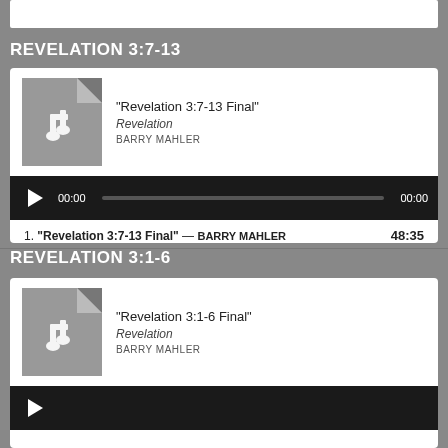REVELATION 3:7-13
[Figure (screenshot): Audio player card with music file thumbnail, track title 'Revelation 3:7-13 Final', album Revelation, artist BARRY MAHLER, black player bar with play button, 00:00 timestamps, and track listing showing 48:35 duration]
REVELATION 3:1-6
[Figure (screenshot): Audio player card with music file thumbnail, track title 'Revelation 3:1-6 Final', album Revelation, artist BARRY MAHLER, and black player bar partially visible]